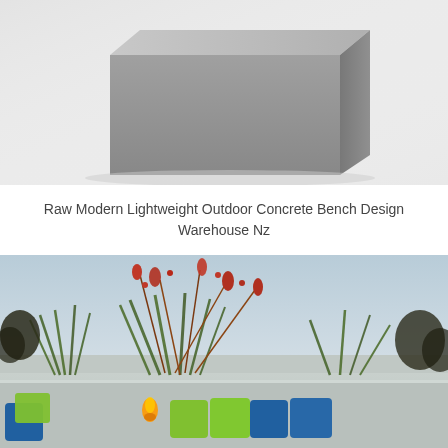[Figure (photo): A modern lightweight concrete bench with grey finish photographed on a white/light grey background. The bench is angular and minimalist in design, shown from a slight angle.]
Raw Modern Lightweight Outdoor Concrete Bench Design Warehouse Nz
[Figure (photo): Outdoor garden and patio scene with tall ornamental grasses and red kangaroo paw flowers against a pale sky. Below is a seating area with a white/light concrete wall, green and blue cushions, and a fire feature visible.]